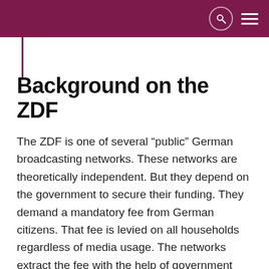Background on the ZDF
The ZDF is one of several “public” German broadcasting networks. These networks are theoretically independent. But they depend on the government to secure their funding. They demand a mandatory fee from German citizens. That fee is levied on all households regardless of media usage. The networks extract the fee with the help of government force up to imprisonment if citizens refuse to pay.
Also, politicians from both major parties CDU and